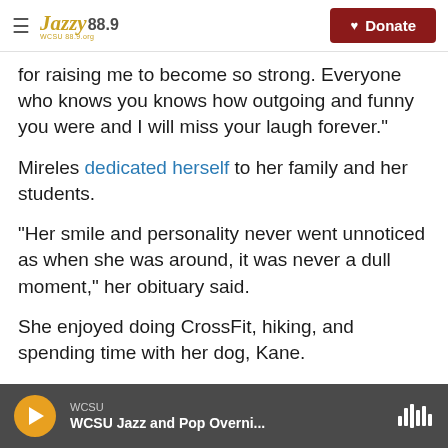Jazzy 88.9 WCSU | Donate
for raising me to become so strong. Everyone who knows you knows how outgoing and funny you were and I will miss your laugh forever."
Mireles dedicated herself to her family and her students.
"Her smile and personality never went unnoticed as when she was around, it was never a dull moment," her obituary said.
She enjoyed doing CrossFit, hiking, and spending time with her dog, Kane.
WCSU | WCSU Jazz and Pop Overni...